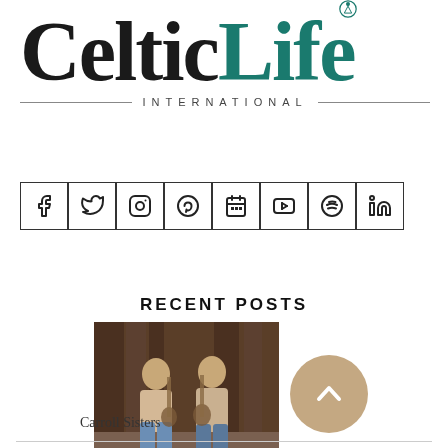[Figure (logo): CelticLife International magazine logo — 'Celtic' in black serif and 'Life' in teal serif, with a small soccer ball icon above the 'L', and 'INTERNATIONAL' in small caps with decorative lines beneath]
[Figure (infographic): Row of social media icon buttons in square borders: Facebook, Twitter, Instagram, Pinterest, Calendar, YouTube, Spotify, LinkedIn]
RECENT POSTS
[Figure (photo): Two young women sitting together holding stringed instruments (fiddles/guitars), wearing casual clothing, photographed in front of a dark wooden background]
Carroll Sisters